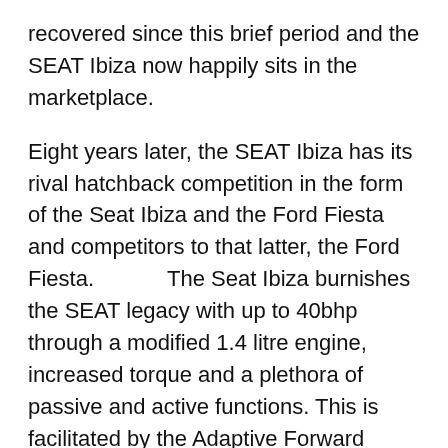recovered since this brief period and the SEAT Ibiza now happily sits in the marketplace.
Eight years later, the SEAT Ibiza has its rival hatchback competition in the form of the Seat Ibiza and the Ford Fiesta and competitors to that latter, the Ford Fiesta. The Seat Ibiza burnishes the SEAT legacy with up to 40bhp through a modified 1.4 litre engine, increased torque and a plethora of passive and active functions. This is facilitated by the Adaptive Forward Lighting with full Stop, Night Vision with Cornering and a Highline fitted- Stop light, amongst others.
The seat belts are now hydraulic hence no need for abuse and in the event of a crash, the weight distribution is even and the tracking is as responsive as, possibly, the original. The steering is also as responsive as it's ever and the musical instrument